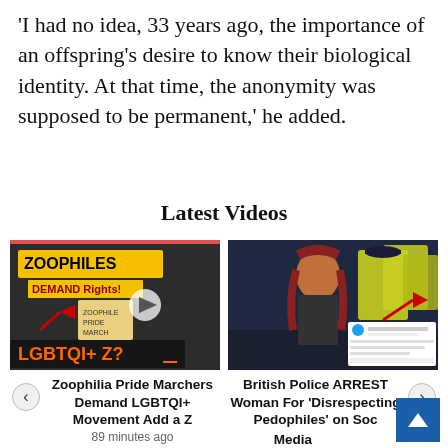'I had no idea, 33 years ago, the importance of an offspring's desire to know their biological identity. At that time, the anonymity was supposed to be permanent,' he added.
Latest Videos
[Figure (screenshot): Video thumbnail showing text 'ZOOPHILES DEMAND Rights!' and 'LGBTQI+ Z?' with a play button]
[Figure (screenshot): Video thumbnail showing British police officers and a woman with red hair, with a play button]
Zoophilia Pride Marchers Demand LGBTQI+ Movement Add a Z
89 minutes ago
British Police ARREST Woman For 'Disrespecting Pedophiles' on Social Media